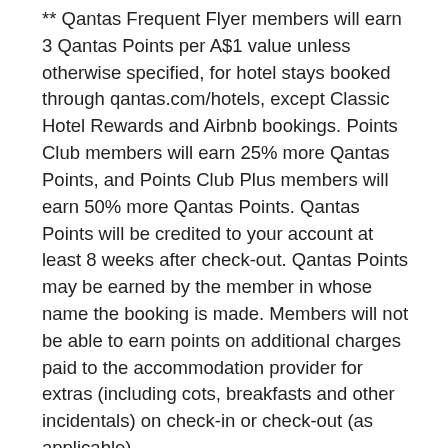** Qantas Frequent Flyer members will earn 3 Qantas Points per A$1 value unless otherwise specified, for hotel stays booked through qantas.com/hotels, except Classic Hotel Rewards and Airbnb bookings. Points Club members will earn 25% more Qantas Points, and Points Club Plus members will earn 50% more Qantas Points. Qantas Points will be credited to your account at least 8 weeks after check-out. Qantas Points may be earned by the member in whose name the booking is made. Members will not be able to earn points on additional charges paid to the accommodation provider for extras (including cots, breakfasts and other incidentals) on check-in or check-out (as applicable).
* Qantas Frequent Flyer members can redeem Qantas Points when booking hotel accommodation through qantas.com/hotels or holiday packages through qantas.com/holidays, using Points Plus Pay. Members cannot redeem points for additional charges paid to the hotel for extras (including cots, breakfasts and other incidentals) on check-in or check-out (as applicable). Points Plus Pay allows you to choose the number of Qantas Points you